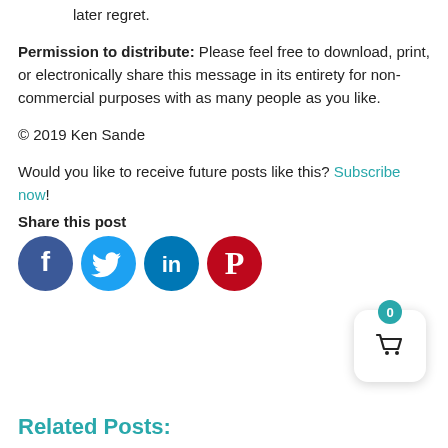are moving you to act in ways you may later regret.
Permission to distribute: Please feel free to download, print, or electronically share this message in its entirety for non-commercial purposes with as many people as you like.
© 2019 Ken Sande
Would you like to receive future posts like this? Subscribe now!
Share this post
[Figure (infographic): Four social media share icons: Facebook (dark blue circle with f), Twitter (light blue circle with bird), LinkedIn (teal circle with in), Pinterest (red circle with P)]
[Figure (infographic): Shopping cart widget with teal badge showing 0 and white rounded square with basket icon]
Related Posts: